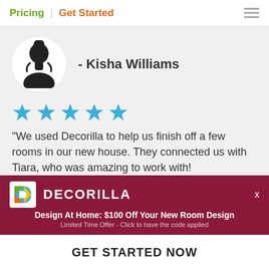Pricing | Get Started
[Figure (illustration): Silhouette avatar of a female person in a white circle on a gray background]
- Kisha Williams
[Figure (illustration): Five blue star rating icons]
“We used Decorilla to help us finish off a few rooms in our new house. They connected us with Tiara, who was amazing to work with!
[Figure (logo): Decorilla logo with colorful D icon and DECORILLA text in white]
Design At Home: $100 Off Your New Room Design
Limited Time Offer - Click to have the code applied
GET STARTED NOW